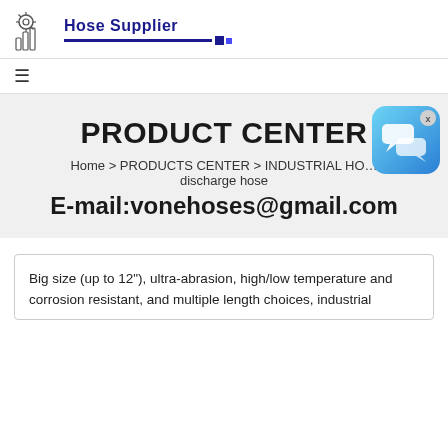[Figure (logo): Hose Supplier logo with gear/equipment icon and blue underline bar]
≡
PRODUCT CENTER
Home > PRODUCTS CENTER > INDUSTRIAL HOSE > discharge hose
E-mail:vonehoses@gmail.com
[Figure (illustration): Blue chat bubble icon with speech bubbles, X close button in top right corner]
Big size (up to 12"), ultra-abrasion, high/low temperature and corrosion resistant, and multiple length choices, industrial